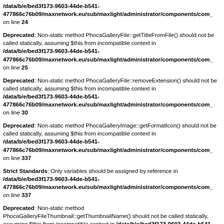/data/b/e/bed3f173-9603-44de-b541-477866c76b09/maxnetwork.eu/sub/maxlight/administrator/components/com_ on line 24
Deprecated: Non-static method PhocaGalleryFile::getTitleFromFile() should not be called statically, assuming $this from incompatible context in /data/b/e/bed3f173-9603-44de-b541-477866c76b09/maxnetwork.eu/sub/maxlight/administrator/components/com_ on line 25
Deprecated: Non-static method PhocaGalleryFile::removeExtension() should not be called statically, assuming $this from incompatible context in /data/b/e/bed3f173-9603-44de-b541-477866c76b09/maxnetwork.eu/sub/maxlight/administrator/components/com_ on line 30
Deprecated: Non-static method PhocaGalleryImage::getFormatIcon() should not be called statically, assuming $this from incompatible context in /data/b/e/bed3f173-9603-44de-b541-477866c76b09/maxnetwork.eu/sub/maxlight/administrator/components/com_ on line 337
Strict Standards: Only variables should be assigned by reference in /data/b/e/bed3f173-9603-44de-b541-477866c76b09/maxnetwork.eu/sub/maxlight/administrator/components/com_ on line 337
Deprecated: Non-static method PhocaGalleryFileThumbnail::getThumbnailName() should not be called statically, assuming $this from incompatible context in /data/b/e/bed3f173-9603-44de-b541-477866c76b09/maxnetwork.eu/sub/maxlight/components/com_phocagallery/h